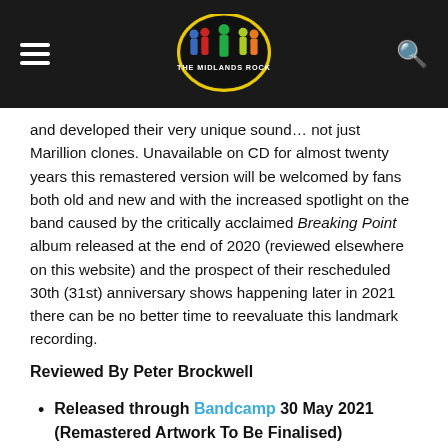The Midlands Rock (logo header with hamburger menu and search icon)
and developed their very unique sound… not just Marillion clones. Unavailable on CD for almost twenty years this remastered version will be welcomed by fans both old and new and with the increased spotlight on the band caused by the critically acclaimed Breaking Point album released at the end of 2020 (reviewed elsewhere on this website) and the prospect of their rescheduled 30th (31st) anniversary shows happening later in 2021 there can be no better time to reevaluate this landmark recording.
Reviewed By Peter Brockwell
Released through Bandcamp 30 May 2021 (Remastered Artwork To Be Finalised)